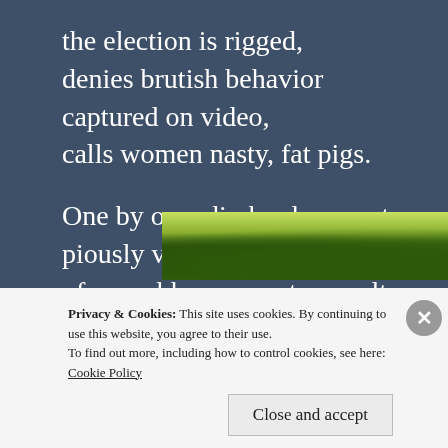the election is rigged,
denies brutish behavior
captured on video,
calls women nasty, fat pigs.

One by one, die-hard supporters
piously voice disapproval
of sexual harassment, assault.
They hide behind “decency”
but fail to pull their endorsements.
[Figure (photo): Partial photo of trees/foliage visible behind cookie consent banner]
Privacy & Cookies: This site uses cookies. By continuing to use this website, you agree to their use.
To find out more, including how to control cookies, see here:
Cookie Policy
Close and accept